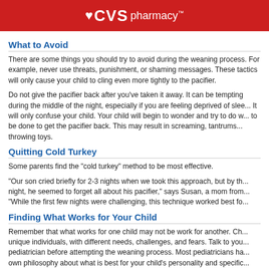♥CVS pharmacy™
What to Avoid
There are some things you should try to avoid during the weaning process. For example, never use threats, punishment, or shaming messages. These tactics will only cause your child to cling even more tightly to the pacifier.
Do not give the pacifier back after you've taken it away. It can be tempting during the middle of the night, especially if you are feeling deprived of sleep. It will only confuse your child. Your child will begin to wonder and try to do what needs to be done to get the pacifier back. This may result in screaming, tantrums, and throwing toys.
Quitting Cold Turkey
Some parents find the "cold turkey" method to be most effective.
"Our son cried briefly for 2-3 nights when we took this approach, but by the fourth night, he seemed to forget all about his pacifier," says Susan, a mom from... "While the first few nights were challenging, this technique worked best fo...
Finding What Works for Your Child
Remember that what works for one child may not be work for another. Children are unique individuals, with different needs, challenges, and fears. Talk to your pediatrician before attempting the weaning process. Most pediatricians have their own philosophy about what is best for your child's personality and specific development.